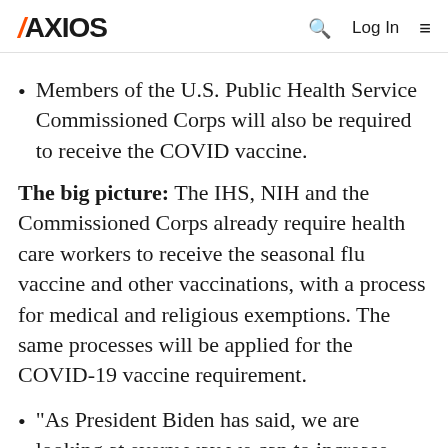AXIOS  Q  Log In  ≡
Members of the U.S. Public Health Service Commissioned Corps will also be required to receive the COVID vaccine.
The big picture: The IHS, NIH and the Commissioned Corps already require health care workers to receive the seasonal flu vaccine and other vaccinations, with a process for medical and religious exemptions. The same processes will be applied for the COVID-19 vaccine requirement.
"As President Biden has said, we are looking at every way we can to increase vaccinations to keep more people safe, and requiring our HHS health care workforce to get vaccinated